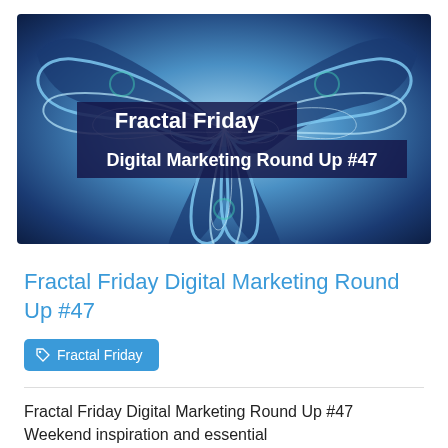[Figure (illustration): Fractal art image with blue swirling patterns. Overlaid text reads 'Fractal Friday' on first line and 'Digital Marketing Round Up #47' on second line, both on semi-transparent dark navy background bands.]
Fractal Friday Digital Marketing Round Up #47
Fractal Friday
Fractal Friday Digital Marketing Round Up #47 Weekend inspiration and essential